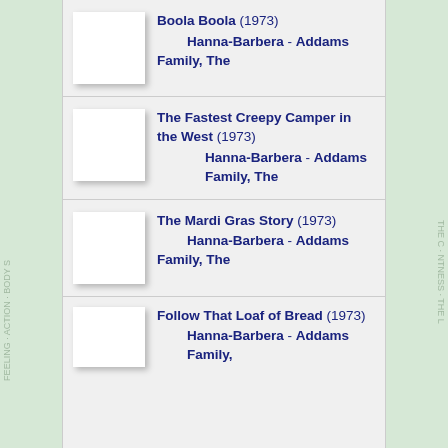Boola Boola (1973) Hanna-Barbera - Addams Family, The
The Fastest Creepy Camper in the West (1973) Hanna-Barbera - Addams Family, The
The Mardi Gras Story (1973) Hanna-Barbera - Addams Family, The
Follow That Loaf of Bread (1973) Hanna-Barbera - Addams Family,